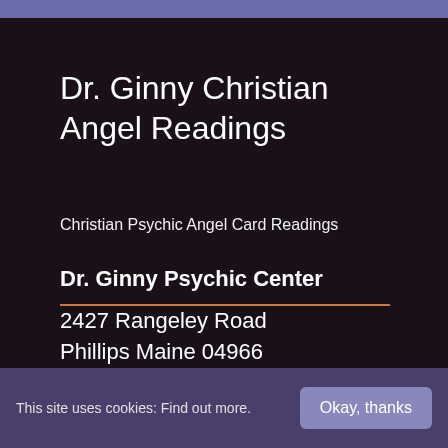Dr. Ginny Christian Angel Readings
Christian Psychic Angel Card Readings
Dr. Ginny Psychic Center
2427 Rangeley Road
Phillips Maine 04966
207-639-2711
This site uses cookies: Find out more.